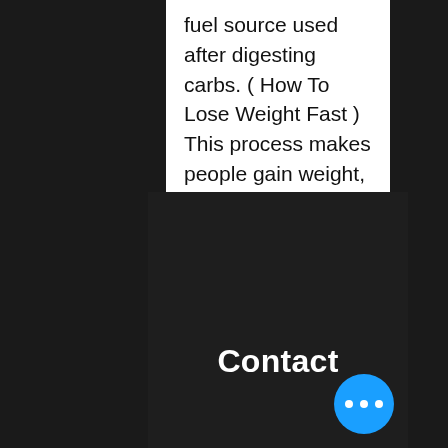fuel source used after digesting carbs. ( How To Lose Weight Fast ) This process makes people gain weight, however a diet of fat and ketones will cause weight loss. As you ask what
942  0  +♥
Contact